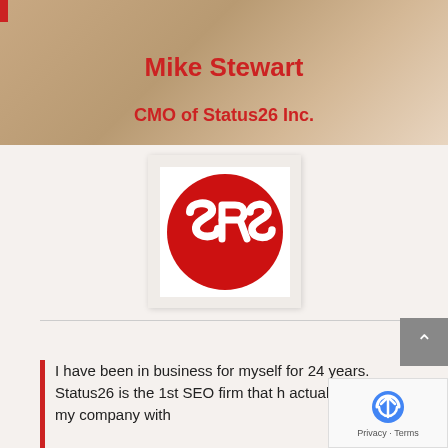Mike Stewart
CMO of Status26 Inc.
[Figure (logo): SRS logo: red circle with white stylized SRS lettering on white square background]
I have been in business for myself for 24 years. Status26 is the 1st SEO firm that h... actually provided my company with